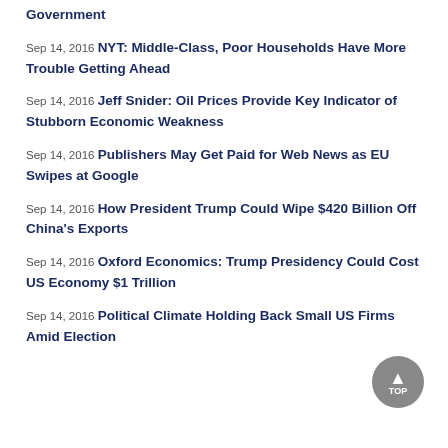Government
Sep 14, 2016 NYT: Middle-Class, Poor Households Have More Trouble Getting Ahead
Sep 14, 2016 Jeff Snider: Oil Prices Provide Key Indicator of Stubborn Economic Weakness
Sep 14, 2016 Publishers May Get Paid for Web News as EU Swipes at Google
Sep 14, 2016 How President Trump Could Wipe $420 Billion Off China's Exports
Sep 14, 2016 Oxford Economics: Trump Presidency Could Cost US Economy $1 Trillion
Sep 14, 2016 Political Climate Holding Back Small US Firms Amid Election